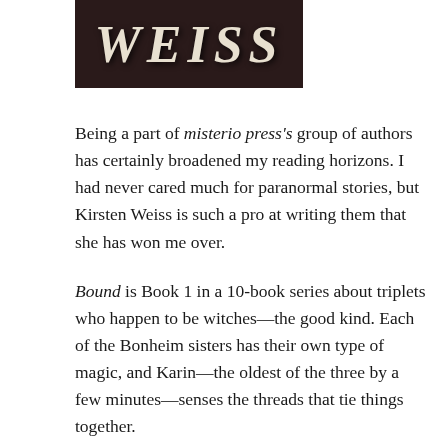[Figure (photo): Book cover fragment showing the author name WEISS in large italic serif letters on a dark background]
Being a part of misterio press's group of authors has certainly broadened my reading horizons. I had never cared much for paranormal stories, but Kirsten Weiss is such a pro at writing them that she has won me over.
Bound is Book 1 in a 10-book series about triplets who happen to be witches—the good kind. Each of the Bonheim sisters has their own type of magic, and Karin—the oldest of the three by a few minutes—senses the threads that tie things together.
But there's something off about their hometown of Doyle—hikers disappear in the woods and some people seem cursed with bad luck—plus Karin discovers that she's destined to become the next victim of a family